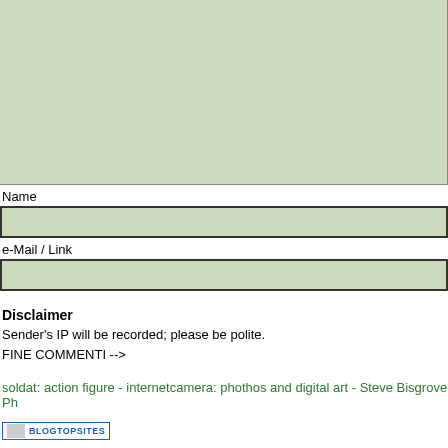[Figure (screenshot): A light green textarea input box at the top of the page, truncated at the top]
Name
[Figure (screenshot): A light green text input field for Name]
e-Mail / Link
[Figure (screenshot): A light green text input field for e-Mail / Link]
Disclaimer
Sender's IP will be recorded; please be polite.
FINE COMMENTI -->
soldat: action figure - internetcamera: phothos and digital art - Steve Bisgrove Ph
[Figure (logo): BlogTopSites badge button]